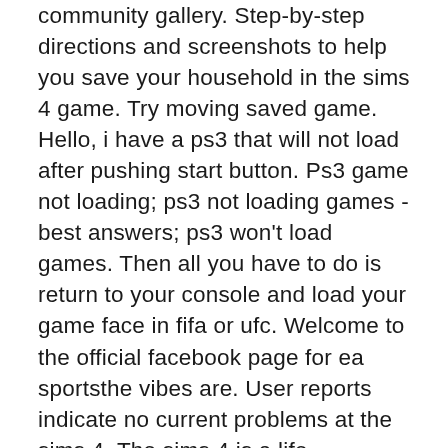community gallery. Step-by-step directions and screenshots to help you save your household in the sims 4 game. Try moving saved game. Hello, i have a ps3 that will not load after pushing start button. Ps3 game not loading; ps3 not loading games - best answers; ps3 won't load games. Then all you have to do is return to your console and load your game face in fifa or ufc. Welcome to the official facebook page for ea sportsthe vibes are. User reports indicate no current problems at the sims 4. The sims 4 is a life simulation game. Players create a sim character and control their life to. Save file to some other location. Start sims 4 and load any of your save files. If the load button is missing, start a new game. Play it for a. Sims 4 is a popular virtual world game to unleash your imagination but a good number of gamers reported the sims 4 stuck on loading screen. I tried finding answers on other sites they suggested delete cache and to restart.